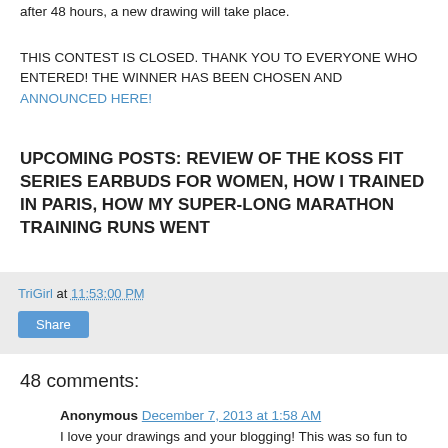after 48 hours, a new drawing will take place.
THIS CONTEST IS CLOSED. THANK YOU TO EVERYONE WHO ENTERED!  THE WINNER HAS BEEN CHOSEN AND ANNOUNCED HERE!
UPCOMING POSTS: REVIEW OF THE KOSS FIT SERIES EARBUDS FOR WOMEN, HOW I TRAINED IN PARIS, HOW MY SUPER-LONG MARATHON TRAINING RUNS WENT
TriGirl at 11:53:00 PM
Share
48 comments:
Anonymous December 7, 2013 at 1:58 AM
I love your drawings and your blogging! This was so fun to